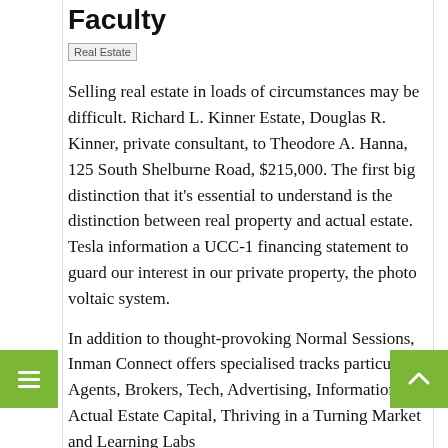Faculty
[Figure (photo): Real Estate image placeholder]
Selling real estate in loads of circumstances may be difficult. Richard L. Kinner Estate, Douglas R. Kinner, private consultant, to Theodore A. Hanna, 125 South Shelburne Road, $215,000. The first big distinction that it’s essential to understand is the distinction between real property and actual estate. Tesla information a UCC-1 financing statement to guard our interest in our private property, the photo voltaic system.
In addition to thought-provoking Normal Sessions, Inman Connect offers specialised tracks particular to Agents, Brokers, Tech, Advertising, Information, Actual Estate Capital, Thriving in a Turning Market and Learning Labs